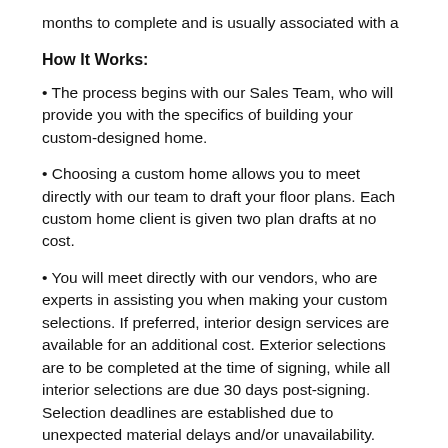months to complete and is usually associated with a
How It Works:
The process begins with our Sales Team, who will provide you with the specifics of building your custom-designed home.
Choosing a custom home allows you to meet directly with our team to draft your floor plans. Each custom home client is given two plan drafts at no cost.
You will meet directly with our vendors, who are experts in assisting you when making your custom selections. If preferred, interior design services are available for an additional cost. Exterior selections are to be completed at the time of signing, while all interior selections are due 30 days post-signing. Selection deadlines are established due to unexpected material delays and/or unavailability. Once all selections are confirmed, the Sales Team will assemble your Proposal for your review.